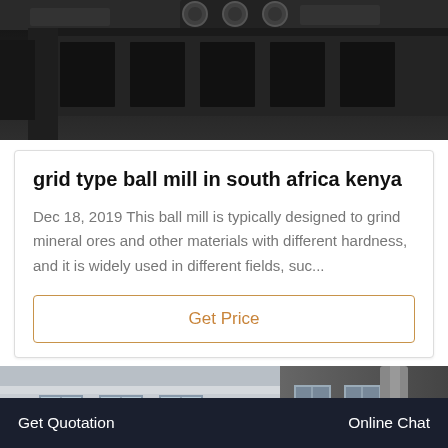[Figure (photo): Close-up photo of dark industrial machinery, likely a ball mill or conveyor component, viewed from below/side angle against a dark background]
grid type ball mill in south africa kenya
Dec 18, 2019 This ball mill is typically designed to grind mineral ores and other materials with different hardness, and it is widely used in different fields, suc...
Get Price
[Figure (photo): Photo of an industrial building exterior with white walls and windows on the left, and interior industrial space with yellow crane beam and metal ductwork on the right]
Online
Get Quotation    Online Chat